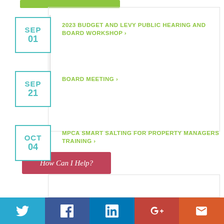SEP 01 — 2023 BUDGET AND LEVY PUBLIC HEARING AND BOARD WORKSHOP ›
SEP 21 — BOARD MEETING ›
OCT 04 — MPCA SMART SALTING FOR PROPERTY MANAGERS TRAINING ›
VIEW ALL EVENTS →
How Can I Help?
[Figure (infographic): Social media footer bar with Twitter, Facebook, LinkedIn, Google+, and email icons on colored backgrounds (teal, dark blue, blue, red, orange)]